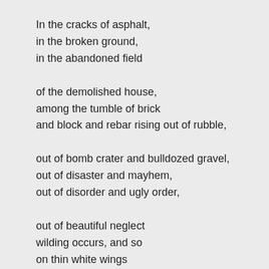In the cracks of asphalt,
in the broken ground,
in the abandoned field

of the demolished house,
among the tumble of brick
and block and rebar rising out of rubble,

out of bomb crater and bulldozed gravel,
out of disaster and mayhem,
out of disorder and ugly order,

out of beautiful neglect
wilding occurs, and so
on thin white wings

the seed settles